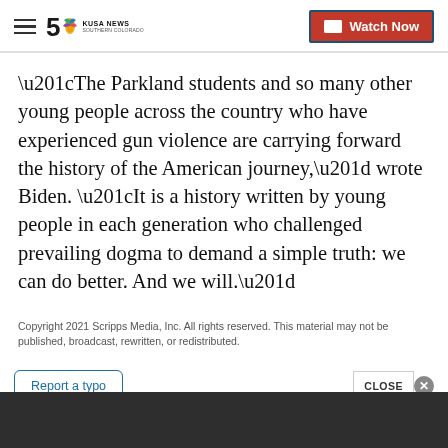5 KUSA NEWS SOUTHERN COLORADO | Watch Now
“The Parkland students and so many other young people across the country who have experienced gun violence are carrying forward the history of the American journey,” wrote Biden. “It is a history written by young people in each generation who challenged prevailing dogma to demand a simple truth: we can do better. And we will.”
Copyright 2021 Scripps Media, Inc. All rights reserved. This material may not be published, broadcast, rewritten, or redistributed.